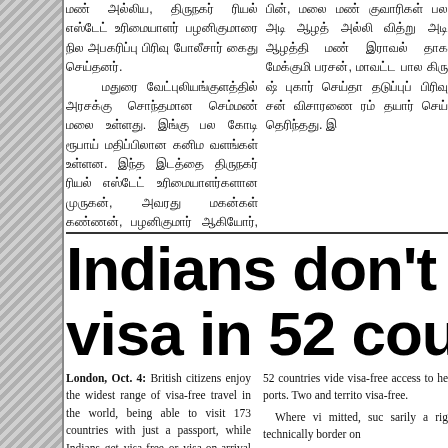மண் அல்லிய, திருநகர் ரியல் எஸ்டேட் உரிமையாளர் பழனிகுமாரை நில அபகரிப்பு பிரிவு போலீசார் கைது செய்தனர்.
    மதுரை வேட்புலியங்குளத்தில் அரசக்கு சொந்தமான செம்மண் மலை உள்ளது. இங்கு பல கோடி ரூபாய் மதிப்பிலான கனிம வளங்கள் உள்ளன. இந்த இடத்தை திருநகர் ரியல் எஸ்டேட் உரிமையாளர்களான முருகன், அவரது மகன்கள் கண்ணன், பழனிகுமார் ஆகியோர், 'தங்களுக்கு சொந்தமான இடம்' என்று பொலி பத்திரம் தயார்
பின், மலைமண் குவாரிகள் பல அடி ஆழத்தில் அல்லி வித்று அடி ஆழத்தில் மண் இராவல் தாக மேக்குமிய பரசன், மாவட்ட பால கிரு ஷ் புகார் செய்தா தடுப்புப் பிரிவு சன் விசாரணை ரம் தயார் செய் தெரிந்தது. இ
Indians don't need visa in 52 countries
London, Oct. 4: British citizens enjoy the widest range of visa-free travel in the world, being able to visit 173 countries with just a passport, while Indians get visa-free or visa-on-arrival access in 52 countries.
  The UK citizens are at par with those from Finland and Sweden for visa-free access, according to Henley & Partners Visa
52 countries vide visa-free access to he ports. Two and territo visa-free.
  Where vi mitted, suc sarily a rig technically border on